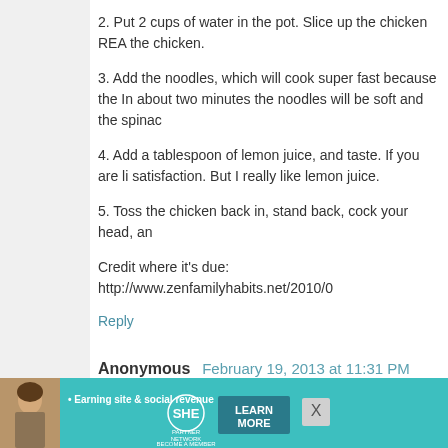2. Put 2 cups of water in the pot. Slice up the chicken REA the chicken.
3. Add the noodles, which will cook super fast because the In about two minutes the noodles will be soft and the spinac
4. Add a tablespoon of lemon juice, and taste. If you are li satisfaction. But I really like lemon juice.
5. Toss the chicken back in, stand back, cock your head, an
Credit where it's due: http://www.zenfamilyhabits.net/2010/0
Reply
Anonymous   February 19, 2013 at 11:31 PM
It's okay, I can't even do anything close to cooking. I burn to
Reply
Tavaril   February 19, 2013 at 11:32 PM
I love cooking, and can usually 'healthify' most recipie
[Figure (infographic): SHE Partner Network advertisement banner with woman photo, 'Earning site & social revenue' text, SHE logo, and LEARN MORE button]